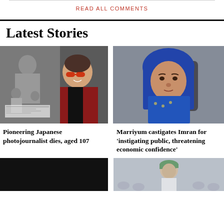READ ALL COMMENTS
Latest Stories
[Figure (photo): Elderly Japanese woman with red glasses smiling in front of a black and white photograph]
Pioneering Japanese photojournalist dies, aged 107
[Figure (photo): Woman in blue hijab seated, speaking]
Marriyum castigates Imran for 'instigating public, threatening economic confidence'
[Figure (photo): Dark image, partially visible]
[Figure (photo): Cricket player in green cap]